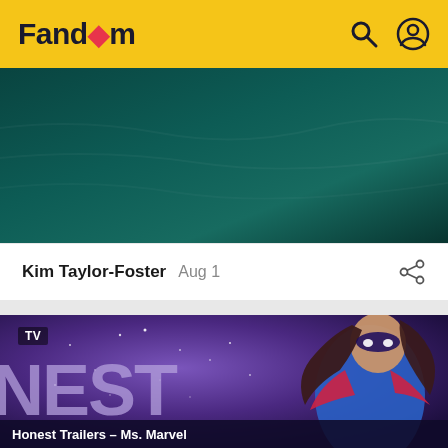Fandom
[Figure (photo): Dark teal/green background image, partial view]
Kim Taylor-Foster  Aug 1
[Figure (photo): Ms. Marvel character illustration with purple/blue cosmic background, TV badge, large text 'NEST' overlay, and bottom title 'Honest Trailers - Ms. Marvel']